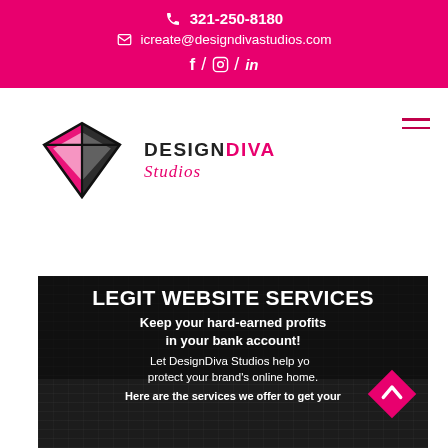321-250-8180 | icreate@designdivastudios.com | f / Instagram / in
[Figure (logo): DesignDiva Studios logo with diamond gem shape in black and pink, with brand name DESIGNDIVA Studios]
[Figure (infographic): Dark banner with text: LEGIT WEBSITE SERVICES - Keep your hard-earned profits in your bank account! Let DesignDiva Studios help you protect your brand's online home. Here are the services we offer to get your...]